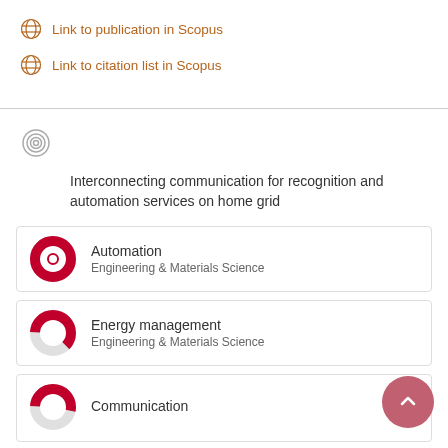Link to publication in Scopus
Link to citation list in Scopus
Interconnecting communication for recognition and automation services on home grid
Automation
Engineering & Materials Science
Energy management
Engineering & Materials Science
Communication